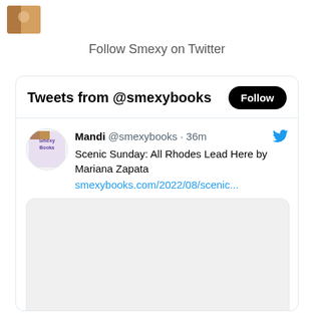[Figure (photo): Small profile photo thumbnail in upper left corner showing a person]
Follow Smexy on Twitter
[Figure (screenshot): Twitter/X widget showing Tweets from @smexybooks with a Follow button and a tweet by Mandi @smexybooks posted 36m ago: 'Scenic Sunday: All Rhodes Lead Here by Mariana Zapata' with link smexybooks.com/2022/08/scenic... and an embedded image preview below]